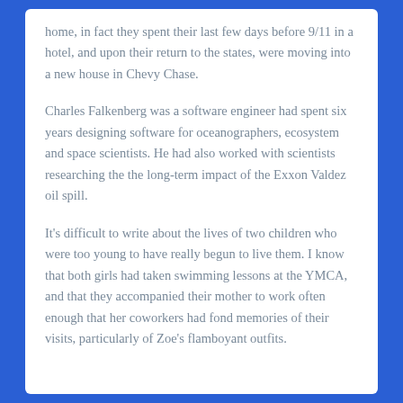home, in fact they spent their last few days before 9/11 in a hotel, and upon their return to the states, were moving into a new house in Chevy Chase.
Charles Falkenberg was a software engineer had spent six years designing software for oceanographers, ecosystem and space scientists. He had also worked with scientists researching the the long-term impact of the Exxon Valdez oil spill.
It's difficult to write about the lives of two children who were too young to have really begun to live them. I know that both girls had taken swimming lessons at the YMCA, and that they accompanied their mother to work often enough that her coworkers had fond memories of their visits, particularly of Zoe's flamboyant outfits.